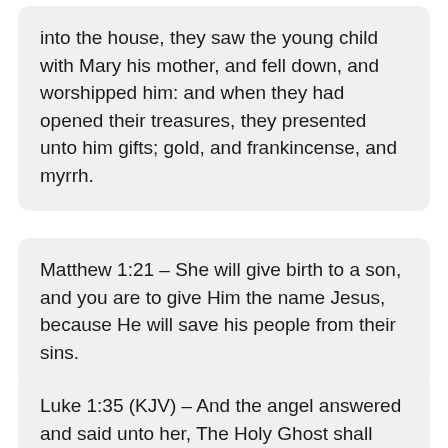into the house, they saw the young child with Mary his mother, and fell down, and worshipped him: and when they had opened their treasures, they presented unto him gifts; gold, and frankincense, and myrrh.
Matthew 1:21 – She will give birth to a son, and you are to give Him the name Jesus, because He will save his people from their sins.
Luke 1:35 (KJV) – And the angel answered and said unto her, The Holy Ghost shall come upon thee, and the power of the Highest shall